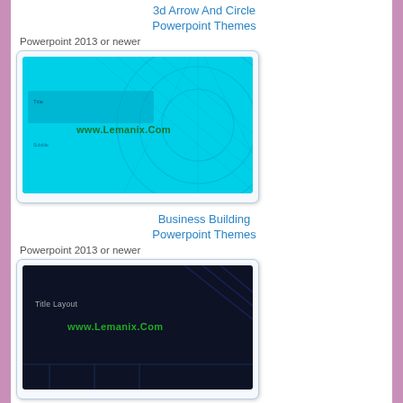3d Arrow And Circle Powerpoint Themes
Powerpoint 2013 or newer
[Figure (screenshot): Preview thumbnail of '3d Arrow And Circle Powerpoint Themes' — cyan/turquoise background with grid/wireframe circular pattern and www.Lemanix.Com watermark]
Business Building Powerpoint Themes
Powerpoint 2013 or newer
[Figure (screenshot): Preview thumbnail of 'Business Building Powerpoint Themes' — dark navy background with circuit/line pattern, Title Layout text, and www.Lemanix.Com watermark]
Triple Lines Powerpoint Themes
Powerpoint 2013 or newer
[Figure (screenshot): Preview thumbnail of 'Triple Lines Powerpoint Themes' — light blue/grey background with Title Layout text and www.Lemanix.Com watermark]